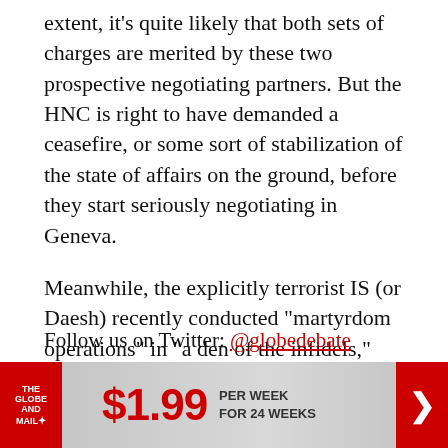extent, it's quite likely that both sets of charges are merited by these two prospective negotiating partners. But the HNC is right to have demanded a ceasefire, or some sort of stabilization of the state of affairs on the ground, before they start seriously negotiating in Geneva.
Meanwhile, the explicitly terrorist IS (or Daesh) recently conducted "martyrdom operations" in "a den of the infidels," close to a major mosque in Damascus. That should be a vivid reminder of what's at stake.
Follow us on Twitter: @globedebate
[Figure (infographic): The Globe and Mail advertisement banner showing $1.99 per week for 24 weeks with red logo and arrow]